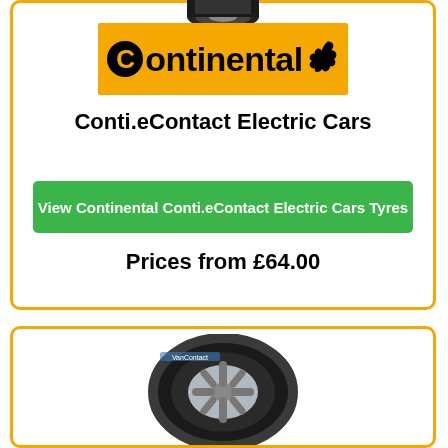[Figure (logo): Continental brand logo on orange/yellow background with horse silhouette]
Conti.eContact Electric Cars
View Continental Conti.eContact Electric Cars Tyres
Prices from £64.00
[Figure (photo): Continental tyre product photo (Van Contact type) shown in lower card]